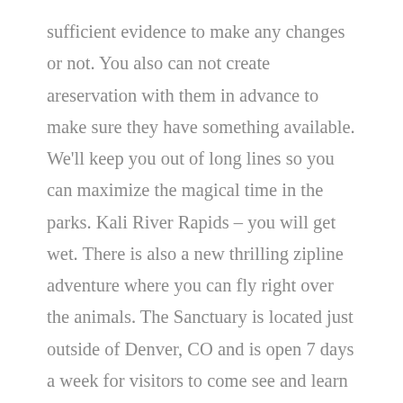sufficient evidence to make any changes or not. You also can not create areservation with them in advance to make sure they have something available. We'll keep you out of long lines so you can maximize the magical time in the parks. Kali River Rapids – you will get wet. There is also a new thrilling zipline adventure where you can fly right over the animals. The Sanctuary is located just outside of Denver, CO and is open 7 days a week for visitors to come see and learn about the animals we have rescued. You can save $7 per person on a one day ticket and $8 per person on a two day ticket. All the past violations have been fixed, and we challenge Joe Therrien to come out and do an